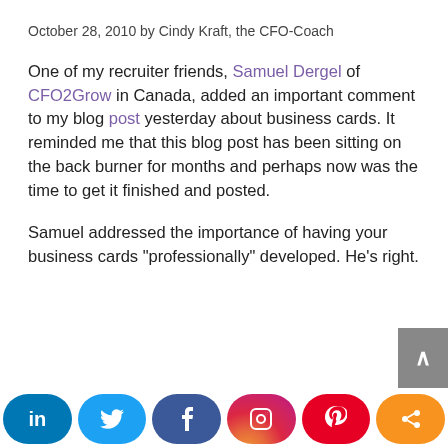October 28, 2010 by Cindy Kraft, the CFO-Coach
One of my recruiter friends, Samuel Dergel of CFO2Grow in Canada, added an important comment to my blog post yesterday about business cards. It reminded me that this blog post has been sitting on the back burner for months and perhaps now was the time to get it finished and posted.
Samuel addressed the importance of having your business cards “professionally” developed. He’s right. If you’re at a networking event, your business card is the last impression people take with them. Is the Finance Executive they just shook hands with the same professional
[Figure (other): Social media sharing bar with LinkedIn, Twitter, Facebook, Instagram, Pinterest, and share buttons]